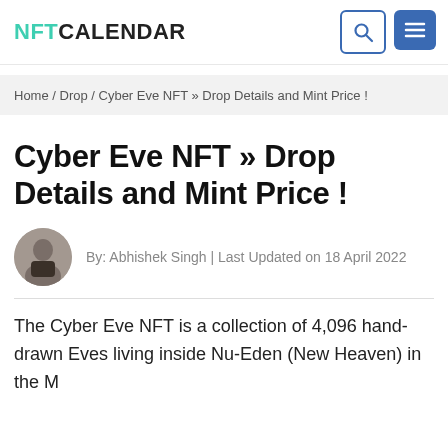NFT CALENDAR
Home / Drop / Cyber Eve NFT » Drop Details and Mint Price !
Cyber Eve NFT » Drop Details and Mint Price !
By: Abhishek Singh | Last Updated on 18 April 2022
The Cyber Eve NFT is a collection of 4,096 hand-drawn Eves living inside Nu-Eden (New Heaven) in the Metaverse on the Ethereum Blockchain. Eve...